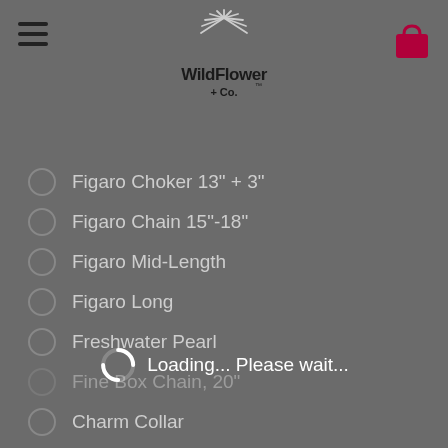Wildflower + Co. navigation header with hamburger menu, logo, and shopping bag icon
Figaro Choker 13" + 3"
Figaro Chain 15"-18"
Figaro Mid-Length
Figaro Long
Freshwater Pearl
[Figure (infographic): Loading spinner circle with 'Loading... Please wait...' text overlay]
Fine Box Chain, 20"
Charm Collar
Leather Collar
QTY:
1